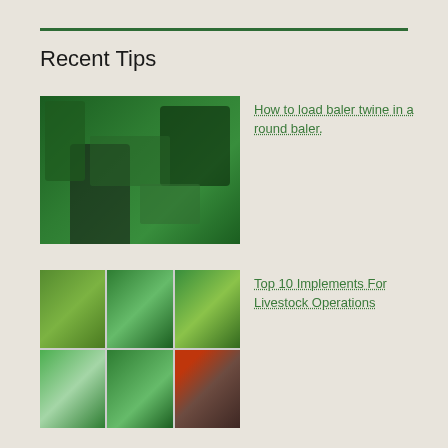Recent Tips
[Figure (photo): A farmer in a plaid shirt and white cap loading baler twine into a green round baler machine]
How to load baler twine in a round baler.
[Figure (photo): A 2x3 grid collage of six photos showing various green farm implements and machinery used in livestock operations, including rakes, sprayers, balers, and tractors]
Top 10 Implements For Livestock Operations